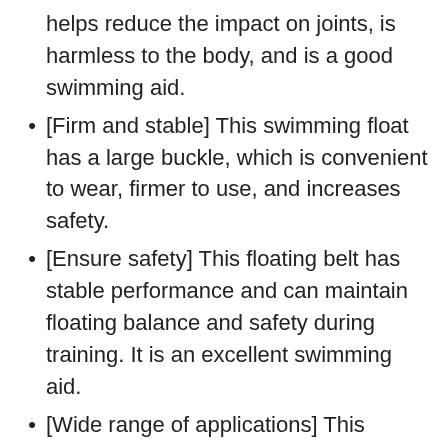helps reduce the impact on joints, is harmless to the body, and is a good swimming aid.
[Firm and stable] This swimming float has a large buckle, which is convenient to wear, firmer to use, and increases safety.
[Ensure safety] This floating belt has stable performance and can maintain floating balance and safety during training. It is an excellent swimming aid.
[Wide range of applications] This swimming floating board has fine workmanship and powerful functions. It is applicable to seaside, indoor swimming pool, outdoor swimming pool and so on.